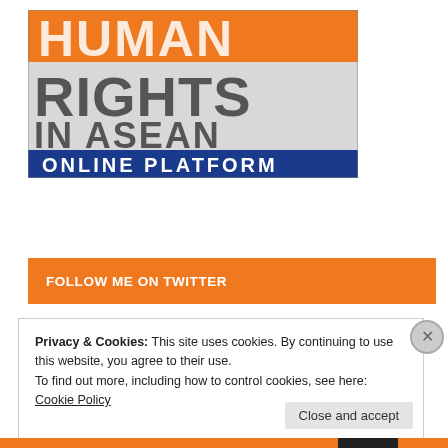[Figure (logo): Human Rights in ASEAN Online Platform logo — orange top bar with 'HUMAN' in large white bold letters, gray background with 'RIGHTS' in large dark gray bold letters, 'IN ASEAN' in large dark gray letters, and a blue bottom bar with 'ONLINE PLATFORM' in white bold letters.]
FOLLOW ME ON TWITTER
Privacy & Cookies: This site uses cookies. By continuing to use this website, you agree to their use.
To find out more, including how to control cookies, see here: Cookie Policy